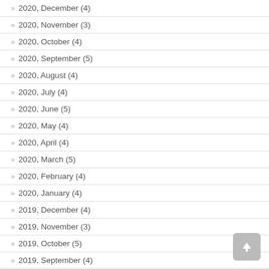» 2020, December (4)
» 2020, November (3)
» 2020, October (4)
» 2020, September (5)
» 2020, August (4)
» 2020, July (4)
» 2020, June (5)
» 2020, May (4)
» 2020, April (4)
» 2020, March (5)
» 2020, February (4)
» 2020, January (4)
» 2019, December (4)
» 2019, November (3)
» 2019, October (5)
» 2019, September (4)
» 2019, August (4)
» 2019, July (5)
» 2019, June (4)